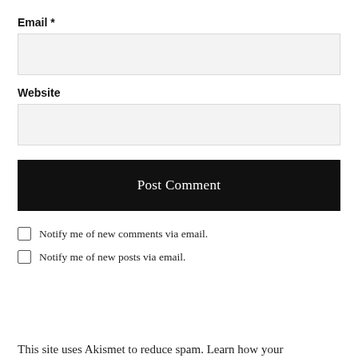Email *
Website
Post Comment
Notify me of new comments via email.
Notify me of new posts via email.
This site uses Akismet to reduce spam. Learn how your